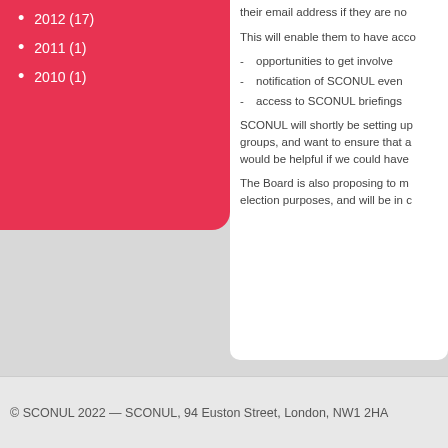2012 (17)
2011 (1)
2010 (1)
their email address if they are no
This will enable them to have acco
opportunities to get involve
notification of SCONUL even
access to SCONUL briefings
SCONUL will shortly be setting up groups, and want to ensure that a would be helpful if we could have
The Board is also proposing to m election purposes, and will be in c
© SCONUL 2022 — SCONUL, 94 Euston Street, London, NW1 2HA